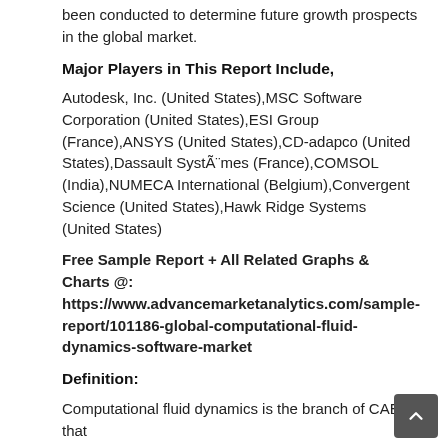been conducted to determine future growth prospects in the global market.
Major Players in This Report Include,
Autodesk, Inc. (United States),MSC Software Corporation (United States),ESI Group (France),ANSYS (United States),CD-adapco (United States),Dassault Systèmes (France),COMSOL (India),NUMECA International (Belgium),Convergent Science (United States),Hawk Ridge Systems (United States)
Free Sample Report + All Related Graphs & Charts @: https://www.advancemarketanalytics.com/sample-report/101186-global-computational-fluid-dynamics-software-market
Definition:
Computational fluid dynamics is the branch of CAE that